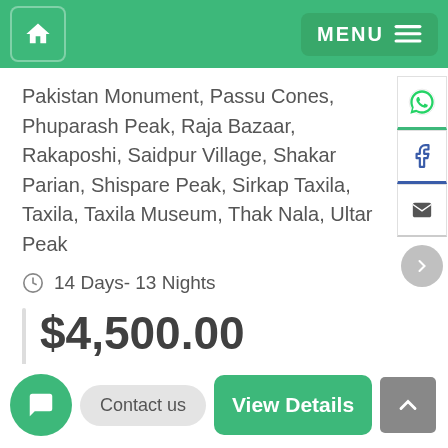Home | MENU
Pakistan Monument, Passu Cones, Phuparash Peak, Raja Bazaar, Rakaposhi, Saidpur Village, Shakar Parian, Shispare Peak, Sirkap Taxila, Taxila, Taxila Museum, Thak Nala, Ultar Peak
14 Days- 13 Nights
$4,500.00
$4,900.00
View Details
Contact us